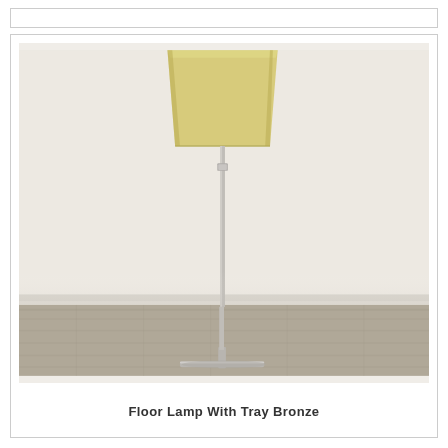[Figure (photo): A floor lamp with a rectangular beige/cream fabric shade on a slim silver/brushed nickel pole with a cross-base, photographed against a plain white/off-white wall with light wood flooring visible at the bottom.]
Floor Lamp With Tray Bronze